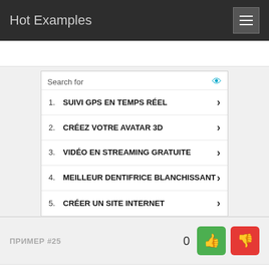Hot Examples
[Figure (infographic): Search ad box with 5 French-language search items: 1. SUIVI GPS EN TEMPS RÉEL, 2. CRÉEZ VOTRE AVATAR 3D, 3. VIDÉO EN STREAMING GRATUITE, 4. MEILLEUR DENTIFRICE BLANCHISSANT, 5. CRÉER UN SITE INTERNET. Footer: Ad | Glocal Search]
ПРИМЕР #25
0